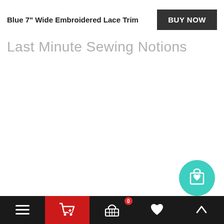Blue 7" Wide Embroidered Lace Trim
BUY NOW
Last Minute Sewing Notions
[Figure (screenshot): Floating teal circular button with shopping bag and heart icon]
Bottom navigation bar with hamburger menu, shopping cart (active/red), basket with badge 0, heart, and up-arrow icons